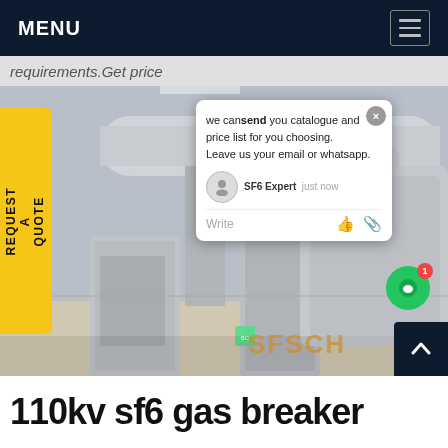MENU
requirements.Get price
[Figure (photo): Industrial SF6 gas circuit breaker equipment in a substation room — large gray cylindrical apparatus with control cabinets and piping. A chat popup overlay shows 'we can send you catalogue and price list for you choosing. Leave us your email or whatsapp.' with SF6 Expert agent. A yellow 'REQUEST A QUOTE' sidebar is on the left. Watermark text 'SFSCH' visible at bottom right of image.]
110kv sf6 gas breaker